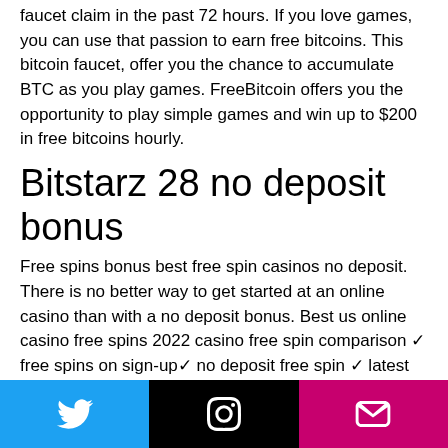faucet claim in the past 72 hours. If you love games, you can use that passion to earn free bitcoins. This bitcoin faucet, offer you the chance to accumulate BTC as you play games. FreeBitcoin offers you the opportunity to play simple games and win up to $200 in free bitcoins hourly.
Bitstarz 28 no deposit bonus
Free spins bonus best free spin casinos no deposit. There is no better way to get started at an online casino than with a no deposit bonus. Best us online casino free spins 2022 casino free spin comparison ✓ free spins on sign-up✓ no deposit free spin ✓ latest deals here. Com, we carefully handpick the best offers, and our casino experts evaluate all our recommended casinos to ensure they
[Figure (other): Footer bar with three social media icons: Twitter (blue), Instagram (black), Email/envelope (magenta/pink)]